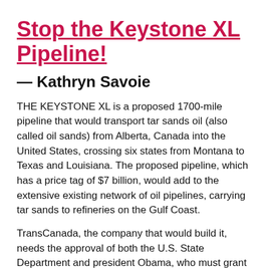Stop the Keystone XL Pipeline!
— Kathryn Savoie
THE KEYSTONE XL is a proposed 1700-mile pipeline that would transport tar sands oil (also called oil sands) from Alberta, Canada into the United States, crossing six states from Montana to Texas and Louisiana. The proposed pipeline, which has a price tag of $7 billion, would add to the extensive existing network of oil pipelines, carrying tar sands to refineries on the Gulf Coast.
TransCanada, the company that would build it, needs the approval of both the U.S. State Department and president Obama, who must grant a “certificate of national interest” for the project to go forward....